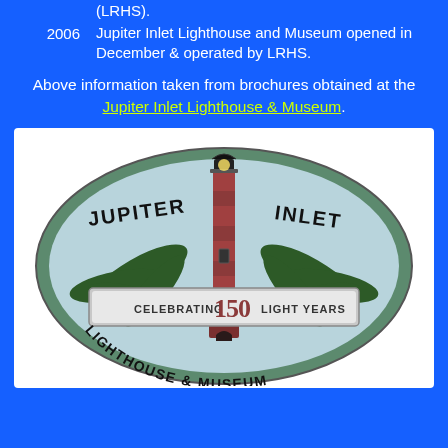(LRHS).
2006 — Jupiter Inlet Lighthouse and Museum opened in December & operated by LRHS.
Above information taken from brochures obtained at the Jupiter Inlet Lighthouse & Museum.
[Figure (logo): Jupiter Inlet Lighthouse & Museum logo — oval shape with lighthouse, palm fronds, text reading JUPITER INLET LIGHTHOUSE & MUSEUM CELEBRATING 150 LIGHT YEARS]